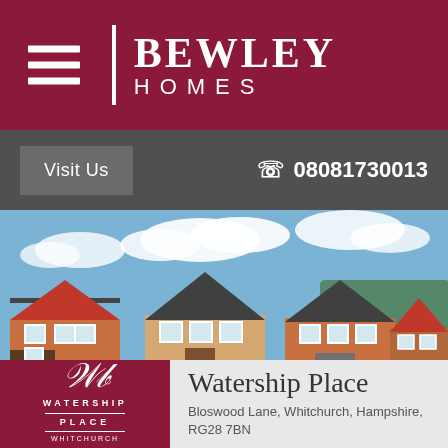[Figure (logo): Bewley Homes logo with white divider bar and text on crimson background, hamburger menu icon on left]
Visit Us
08081730013
[Figure (photo): Exterior photo of Watership Place housing development showing multiple detached homes with brick and render facades, dark roofs, green lawns, and blue sky with white clouds]
[Figure (logo): Watership Place development logo — cursive W and b on crimson background with WATERSHIP PLACE WHITCHURCH text]
Watership Place
Bloswood Lane, Whitchurch, Hampshire, RG28 7BN